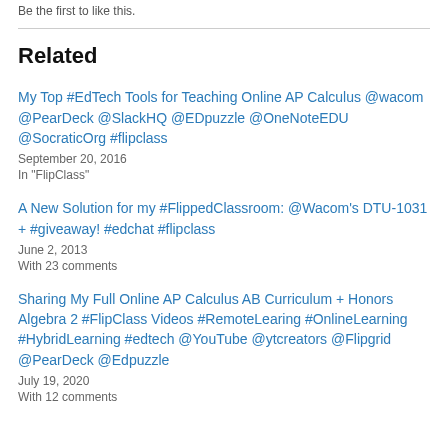Be the first to like this.
Related
My Top #EdTech Tools for Teaching Online AP Calculus @wacom @PearDeck @SlackHQ @EDpuzzle @OneNoteEDU @SocraticOrg #flipclass
September 20, 2016
In "FlipClass"
A New Solution for my #FlippedClassroom: @Wacom’s DTU-1031 + #giveaway! #edchat #flipclass
June 2, 2013
With 23 comments
Sharing My Full Online AP Calculus AB Curriculum + Honors Algebra 2 #FlipClass Videos #RemoteLearing #OnlineLearning #HybridLearning #edtech @YouTube @ytcreators @Flipgrid @PearDeck @Edpuzzle
July 19, 2020
With 12 comments